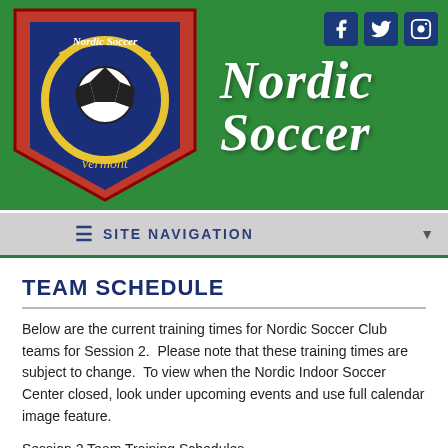[Figure (logo): Nordic Soccer shield logo with soccer ball, Vermont text, ornate design]
NORDIC SOCCER
SITE NAVIGATION
TEAM SCHEDULE
Below are the current training times for Nordic Soccer Club teams for Session 2. Please note that these training times are subject to change. To view when the Nordic Indoor Soccer Center closed, look under upcoming events and use full calendar image feature.
Session 2 Team Training Schedules
Monday
7-8 pm, 05 Boys, 03-04 Boys Club
8-9 p.m., 03-04 Boys Premier